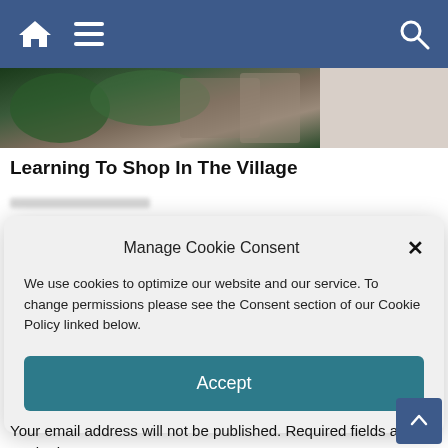[Figure (screenshot): Website navigation bar with home, hamburger menu, and search icons on a dark blue background]
[Figure (photo): Partial hero/banner image showing foliage and outdoor scene]
Learning To Shop In The Village
[Figure (screenshot): Cookie consent dialog box with title 'Manage Cookie Consent', body text about cookies, and Accept button]
We use cookies to optimize our website and our service. To change permissions please see the Consent section of our Cookie Policy linked below.
Your email address will not be published. Required fields are marked *
Comment *